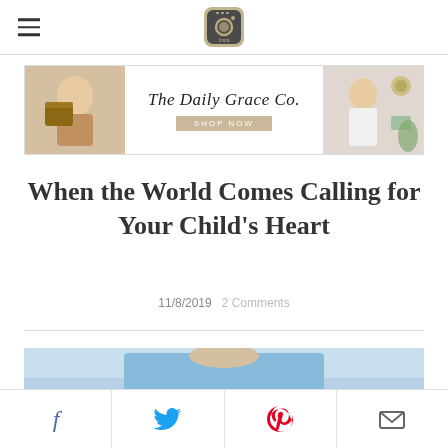Insta [logo icon]
[Figure (illustration): The Daily Grace Co. advertisement banner with text 'The Daily Grace Co. SHOP NOW' and images of bags, accessories, and a woman]
When the World Comes Calling for Your Child's Heart
11/8/2019  2 Comments
[Figure (photo): Partial image of a child in a blue shirt at the bottom of the page]
Social share bar with Facebook, Twitter, Pinterest, and Email icons